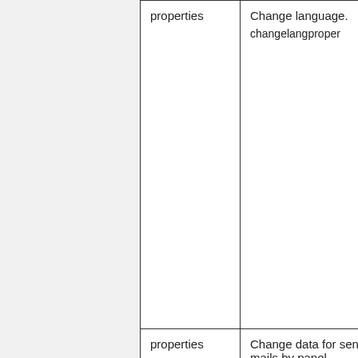| properties | Change language.
changelangproper |
| properties | Change data for sending mails by panel.
changetypemailproper |